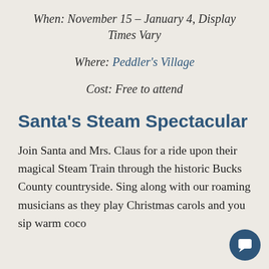When: November 15 – January 4, Display Times Vary
Where: Peddler's Village
Cost: Free to attend
Santa's Steam Spectacular
Join Santa and Mrs. Claus for a ride upon their magical Steam Train through the historic Bucks County countryside. Sing along with our roaming musicians as they play Christmas carols and you sip warm coco and enjoy a freshly baked cookie. Share yo...